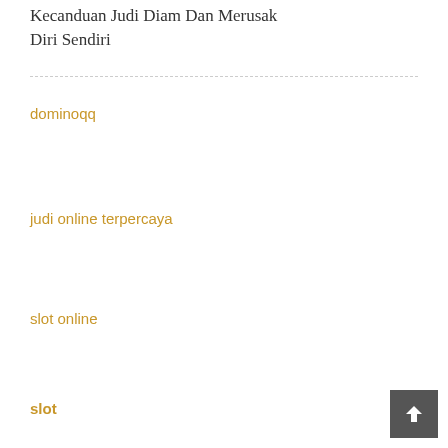Kecanduan Judi Diam Dan Merusak Diri Sendiri
dominoqq
judi online terpercaya
slot online
slot